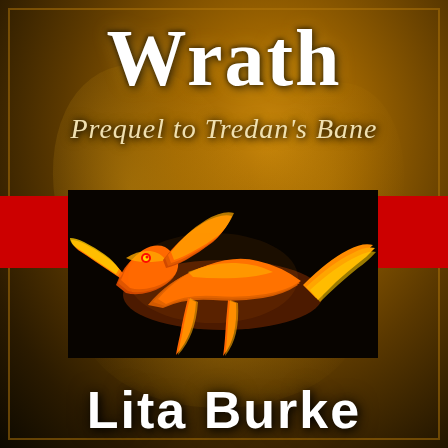Wrath
Prequel to Tredan's Bane
[Figure (illustration): A fire dragon rendered in orange and yellow flames against a black background, with a red band extending horizontally across the cover behind the dragon box]
Lita Burke